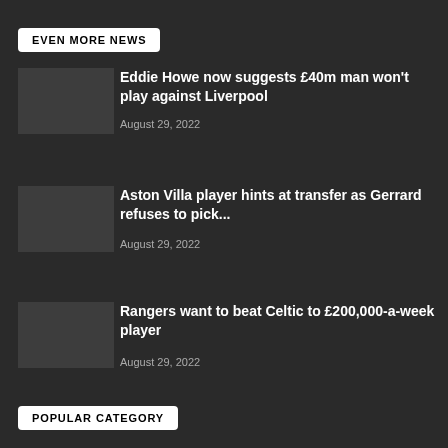EVEN MORE NEWS
Eddie Howe now suggests £40m man won't play against Liverpool
August 29, 2022
Aston Villa player hints at transfer as Gerrard refuses to pick...
August 29, 2022
Rangers want to beat Celtic to £200,000-a-week player
August 29, 2022
POPULAR CATEGORY